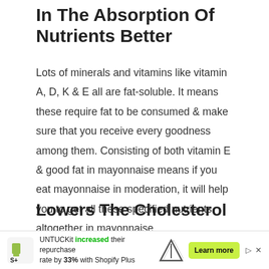In The Absorption Of Nutrients Better
Lots of minerals and vitamins like vitamin A, D, K & E all are fat-soluble. It means these require fat to be consumed & make sure that you receive every goodness among them. Consisting of both vitamin E & good fat in mayonnaise means if you eat mayonnaise in moderation, it will help you to get all these specified nutrients altogether in mayonnaise.
Lowers The Cholesterol
Mayonnaise helps to absorb every short of essen...